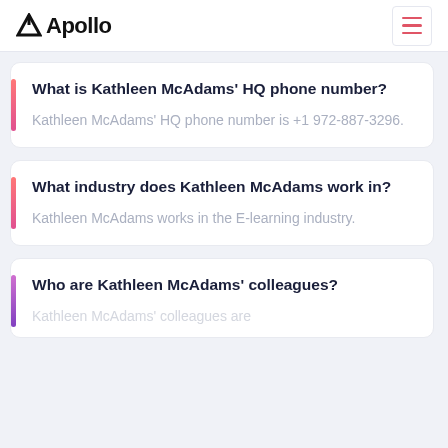Apollo
What is Kathleen McAdams' HQ phone number?
Kathleen McAdams' HQ phone number is +1 972-887-3296.
What industry does Kathleen McAdams work in?
Kathleen McAdams works in the E-learning industry.
Who are Kathleen McAdams' colleagues?
Kathleen McAdams' colleagues are